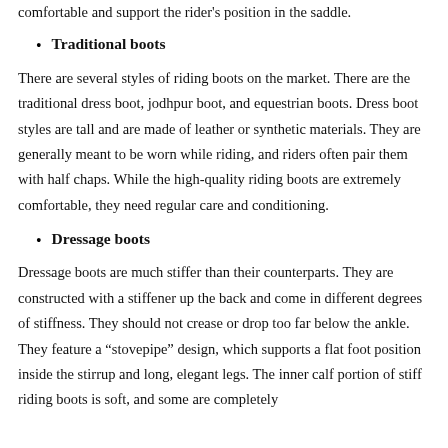comfortable and support the rider's position in the saddle.
Traditional boots
There are several styles of riding boots on the market. There are the traditional dress boot, jodhpur boot, and equestrian boots. Dress boot styles are tall and are made of leather or synthetic materials. They are generally meant to be worn while riding, and riders often pair them with half chaps. While the high-quality riding boots are extremely comfortable, they need regular care and conditioning.
Dressage boots
Dressage boots are much stiffer than their counterparts. They are constructed with a stiffener up the back and come in different degrees of stiffness. They should not crease or drop too far below the ankle. They feature a “stovepipe” design, which supports a flat foot position inside the stirrup and long, elegant legs. The inner calf portion of stiff riding boots is soft, and some are completely